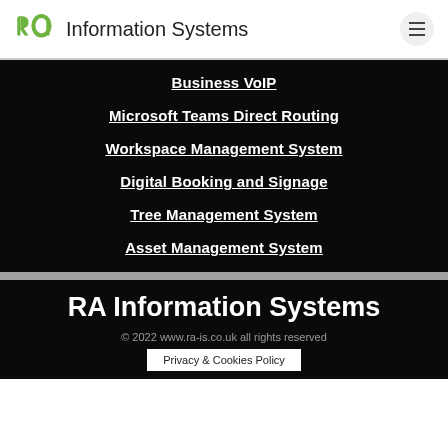ra Information Systems
Business VoIP
Microsoft Teams Direct Routing
Workspace Management System
Digital Booking and Signage
Tree Management System
Asset Management System
RA Information Systems
© 2022 www.ra-is.co.uk all rights reserved
Privacy & Cookies Policy